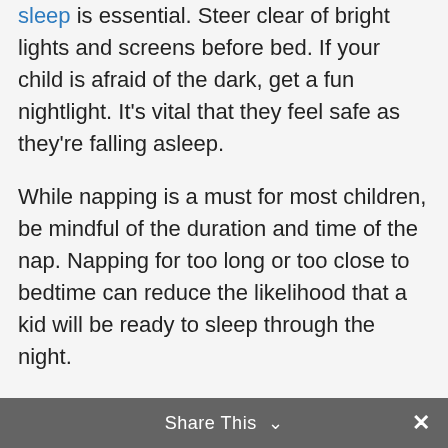sleep is essential. Steer clear of bright lights and screens before bed. If your child is afraid of the dark, get a fun nightlight. It's vital that they feel safe as they're falling asleep.
While napping is a must for most children, be mindful of the duration and time of the nap. Napping for too long or too close to bedtime can reduce the likelihood that a kid will be ready to sleep through the night.
The most important thing is to get the amount of high-quality sleep you need to
Share This ∨  ✕